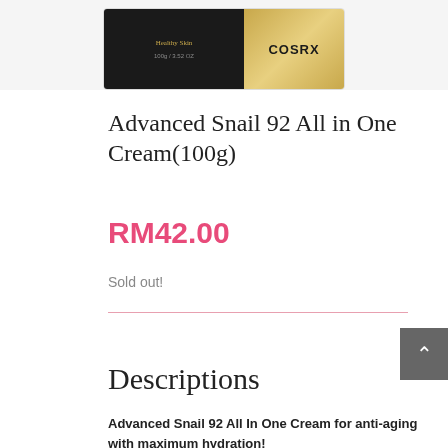[Figure (photo): Product image of COSRX Advanced Snail 92 All In One Cream in a flat rectangular container with black label and gold COSRX branding]
Advanced Snail 92 All in One Cream(100g)
RM42.00
Sold out!
Descriptions
Advanced Snail 92 All In One Cream for anti-aging with maximum hydration!